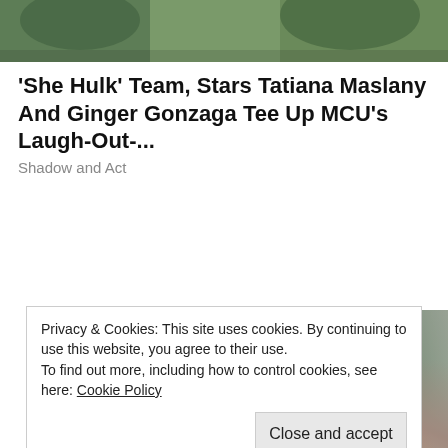[Figure (photo): Top portion of a photo showing green foliage/outdoor background]
'She Hulk' Team, Stars Tatiana Maslany And Ginger Gonzaga Tee Up MCU's Laugh-Out-...
Shadow and Act
[Figure (photo): Photo of three people smiling — two women and a man — appearing to be Michelle Obama, Sasha Obama, and Barack Obama in an outdoor setting]
Privacy & Cookies: This site uses cookies. By continuing to use this website, you agree to their use.
To find out more, including how to control cookies, see here: Cookie Policy
Close and accept